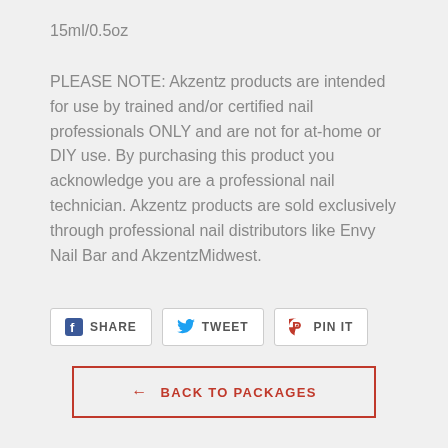15ml/0.5oz
PLEASE NOTE: Akzentz products are intended for use by trained and/or certified nail professionals ONLY and are not for at-home or DIY use. By purchasing this product you acknowledge you are a professional nail technician. Akzentz products are sold exclusively through professional nail distributors like Envy Nail Bar and AkzentzMidwest.
[Figure (other): Social sharing buttons: Facebook SHARE, Twitter TWEET, Pinterest PIN IT]
← BACK TO PACKAGES